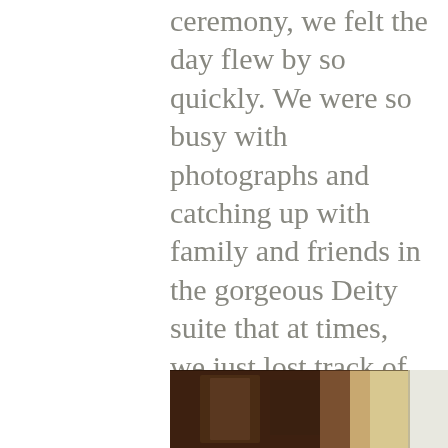ceremony, we felt the day flew by so quickly. We were so busy with photographs and catching up with family and friends in the gorgeous Deity suite that at times, we just lost track of time. Everyone in the wedding party looked amazing and we were all smiles even with all the jitters. From the venue, the food, the drinks, and cake, the flowers, and the company – it was a perfect day, in my opinion. Every detail was simple and elegant and it was everything we imagined our wedding to be.
[Figure (photo): Partial view of an interior scene, possibly showing wooden furniture or architecture, partially cropped at the bottom of the page.]